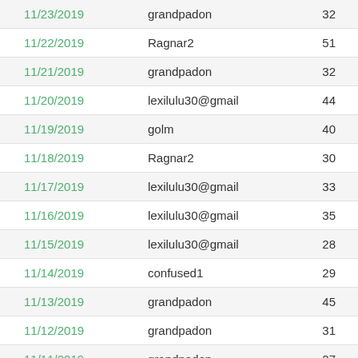| Date | User | Score |
| --- | --- | --- |
| 11/23/2019 | grandpadon | 32 |
| 11/22/2019 | Ragnar2 | 51 |
| 11/21/2019 | grandpadon | 32 |
| 11/20/2019 | lexilulu30@gmail | 44 |
| 11/19/2019 | golm | 40 |
| 11/18/2019 | Ragnar2 | 30 |
| 11/17/2019 | lexilulu30@gmail | 33 |
| 11/16/2019 | lexilulu30@gmail | 35 |
| 11/15/2019 | lexilulu30@gmail | 28 |
| 11/14/2019 | confused1 | 29 |
| 11/13/2019 | grandpadon | 45 |
| 11/12/2019 | grandpadon | 31 |
| 11/11/2019 | grandpadon | 27 |